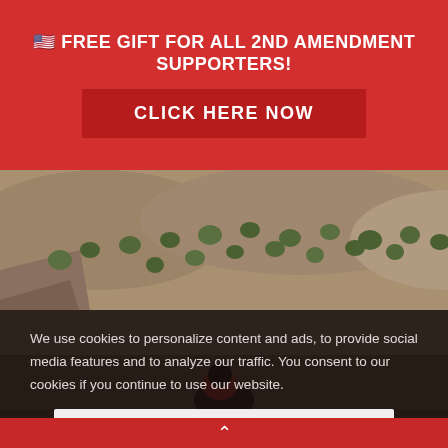🇺🇸 FREE GIFT FOR ALL 2ND AMENDMENT SUPPORTERS!
CLICK HERE NOW
[Figure (photo): Aerial landscape photo showing a rocky canyon with scattered green trees on brown/red terrain, with a person partly visible at lower center.]
We use cookies to personalize content and ads, to provide social media features and to analyze our traffic. You consent to our cookies if you continue to use our website.
Accept